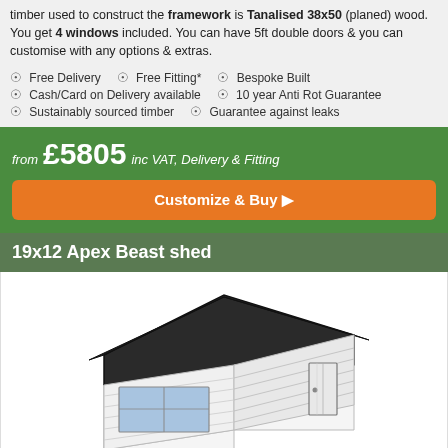timber used to construct the framework is Tanalised 38x50 (planed) wood. You get 4 windows included. You can have 5ft double doors & you can customise with any options & extras.
Free Delivery   Free Fitting*   Bespoke Built
Cash/Card on Delivery available   10 year Anti Rot Guarantee
Sustainably sourced timber   Guarantee against leaks
from £5805 inc VAT, Delivery & Fitting
Customize & Buy
19x12 Apex Beast shed
[Figure (illustration): 3D illustration of a 19x12 Apex Beast shed with dark roof, horizontal cladding, windows on the side, and a door on the right side.]